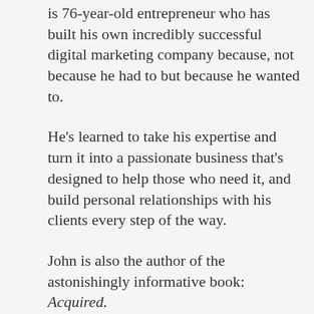is 76-year-old entrepreneur who has built his own incredibly successful digital marketing company because, not because he had to but because he wanted to.
He's learned to take his expertise and turn it into a passionate business that's designed to help those who need it, and build personal relationships with his clients every step of the way.
John is also the author of the astonishingly informative book: Acquired.
Download this episode today to learn if you have what it takes to make the leap to being a real entrepreneur.